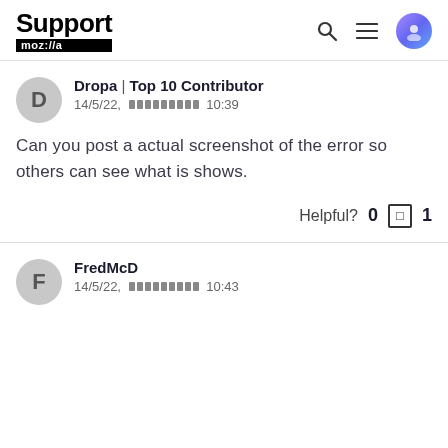Support mozilla// (header with search, menu, user avatar icons)
Dropa | Top 10 Contributor
14/5/22, [redacted] 10:39
Can you post a actual screenshot of the error so others can see what is shows.
Helpful? 0 □ 1
FredMcD
14/5/22, [redacted] 10:43